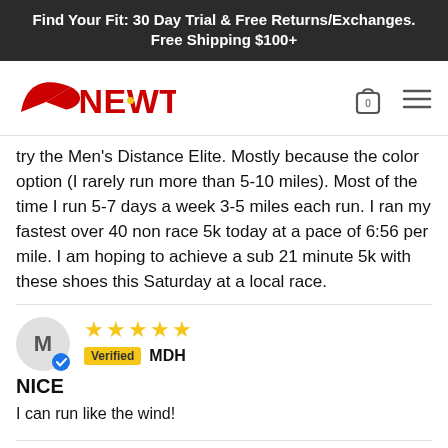Find Your Fit: 30 Day Trial & Free Returns/Exchanges. Free Shipping $100+
[Figure (logo): Newton Running logo with red swoosh and wordmark]
try the Men's Distance Elite. Mostly because the color option (I rarely run more than 5-10 miles). Most of the time I run 5-7 days a week 3-5 miles each run. I ran my fastest over 40 non race 5k today at a pace of 6:56 per mile. I am hoping to achieve a sub 21 minute 5k with these shoes this Saturday at a local race.
MDH — 5 stars — Verified — NICE — I can run like the wind!